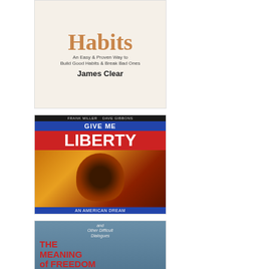[Figure (illustration): Book cover: Atomic Habits by James Clear. Cream/beige background with large orange-tan 'Habits' title text, subtitle 'An Easy & Proven Way to Build Good Habits & Break Bad Ones', author name James Clear in bold.]
[Figure (illustration): Book cover: Give Me Liberty by Frank Miller & Dave Gibbons. Dark background, blue banner at top, large red 'GIVE ME LIBERTY' text, illustrated figure of a Black person against orange/red swirling background, blue footer reading 'AN AMERICAN DREAM'.]
[Figure (illustration): Book cover: The Meaning of Freedom and Other Difficult Dialogues by Angela Y. Davis. Blue-grey photographic cover showing a person with natural hair looking upward, red and white title text at top left, author name at bottom.]
[Figure (illustration): Book cover: partial view of a book by Colson Whitehead. Cream background, 'National Bestseller' at top, 'COLSON WHITEHEAD' in large bold black text.]